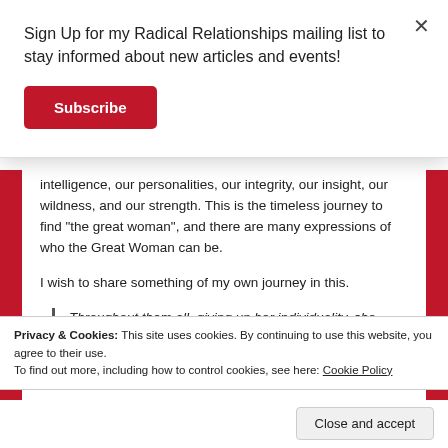Sign Up for my Radical Relationships mailing list to stay informed about new articles and events!
Subscribe
intelligence, our personalities, our integrity, our insight, our wildness, and our strength. This is the timeless journey to find “the great woman”, and there are many expressions of who the Great Woman can be.
I wish to share something of my own journey in this.
Throughout them all, giving up her individuality, she would become the general symbol at which the
Privacy & Cookies: This site uses cookies. By continuing to use this website, you agree to their use.
To find out more, including how to control cookies, see here: Cookie Policy
Close and accept